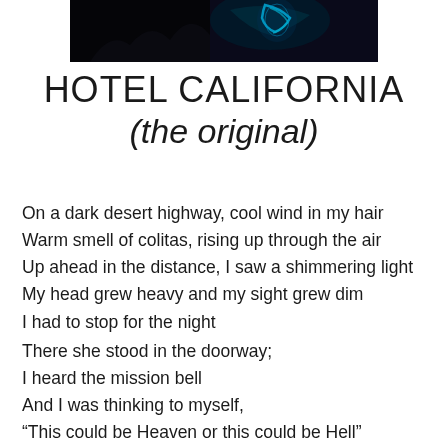[Figure (photo): Dark background image with neon blue glowing guitar or similar object, cropped at top of page]
HOTEL CALIFORNIA
(the original)
On a dark desert highway, cool wind in my hair
Warm smell of colitas, rising up through the air
Up ahead in the distance, I saw a shimmering light
My head grew heavy and my sight grew dim
I had to stop for the night
There she stood in the doorway;
I heard the mission bell
And I was thinking to myself,
“This could be Heaven or this could be Hell”